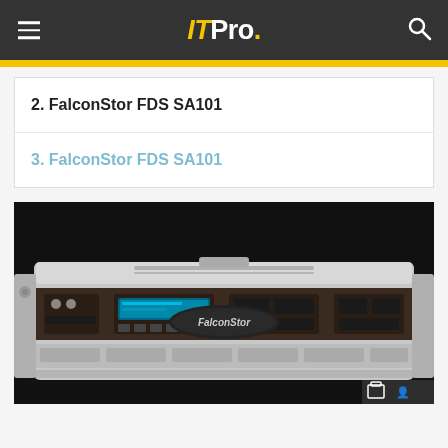ITPro.
2. FalconStor FDS SA101
3. FalconStor FDS SA101
[Figure (photo): Front view of a FalconStor FDS SA101 rack-mount appliance unit with silver/grey chassis, drive bays, control panel with blue display, and FalconStor logo badge on the front.]